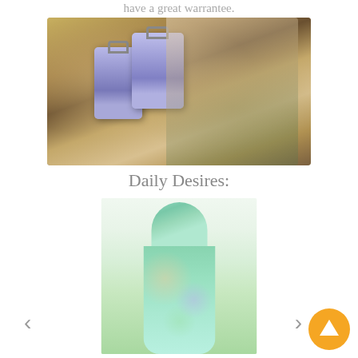have a great warrantee.
[Figure (photo): A woman sitting at an outdoor table laughing, with two lavender/purple suitcases in the foreground. Stone wall background. Another person partially visible on the right.]
Daily Desires:
[Figure (photo): A woman wearing a sleeveless floral dress with blue, green, pink and yellow flowers on a light background. Ruffled shoulder straps. The model is shown from neck to knees.]
‹
›